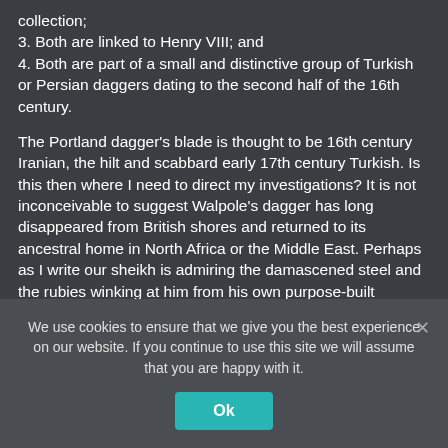collection;
3. Both are linked to Henry VIII; and
4. Both are part of a small and distinctive group of Turkish or Persian daggers dating to the second half of the 16th century.
The Portland dagger's blade is thought to be 16th century Iranian, the hilt and scabbard early 17th century Turkish. Is this then where I need to direct my investigations? It is not inconceivable to suggest Walpole's dagger has long disappeared from British shores and returned to its ancestral home in North Africa or the Middle East. Perhaps as I write our sheikh is admiring the damascened steel and the rubies winking at him from his own purpose-built
We use cookies to ensure that we give you the best experience on our website. If you continue to use this site we will assume that you are happy with it.